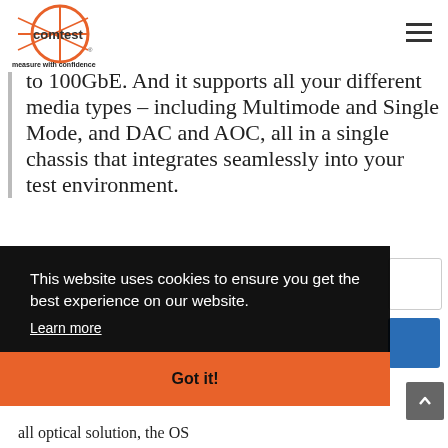comtest — measure with confidence
to 100GbE. And it supports all your different media types – including Multimode and Single Mode, and DAC and AOC, all in a single chassis that integrates seamlessly into your test environment.
This website uses cookies to ensure you get the best experience on our website.
Learn more
Got it!
t Lab
all optical solution, the OS